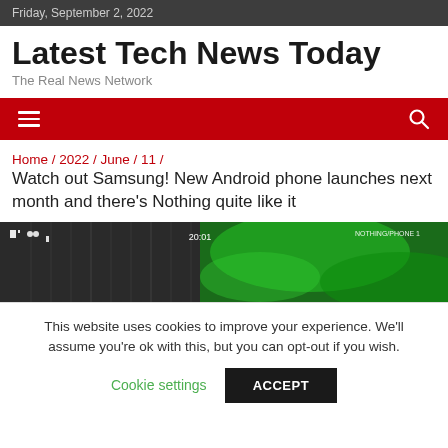Friday, September 2, 2022
Latest Tech News Today
The Real News Network
[Figure (other): Red navigation bar with hamburger menu icon on left and search icon on right]
Home / 2022 / June / 11 /
Watch out Samsung! New Android phone launches next month and there's Nothing quite like it
[Figure (photo): Partial screenshot of a phone showing a dark textured surface on the left and a vibrant green abstract graphic on the right with text overlay]
This website uses cookies to improve your experience. We'll assume you're ok with this, but you can opt-out if you wish.
Cookie settings   ACCEPT